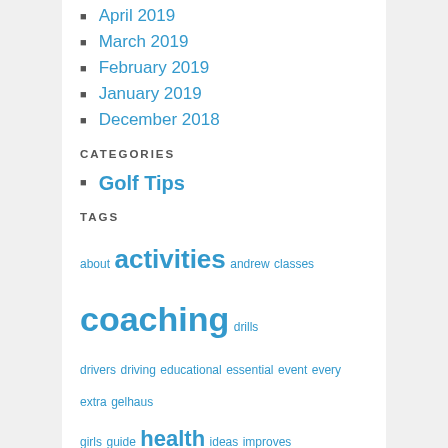April 2019
March 2019
February 2019
January 2019
December 2018
CATEGORIES
Golf Tips
TAGS
about activities andrew classes coaching drills drivers driving educational essential event every extra gelhaus girls guide health ideas improves information instruction james johnson karen kevin kronefield ladies masters movies necessary pasture phillips quick sargent schedule scores sensible solid sport sports swing teaching training videos